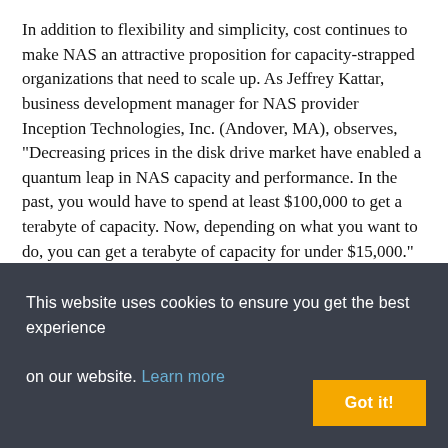In addition to flexibility and simplicity, cost continues to make NAS an attractive proposition for capacity-strapped organizations that need to scale up. As Jeffrey Kattar, business development manager for NAS provider Inception Technologies, Inc. (Andover, MA), observes, "Decreasing prices in the disk drive market have enabled a quantum leap in NAS capacity and performance. In the past, you would have to spend at least $100,000 to get a terabyte of capacity. Now, depending on what you want to do, you can get a terabyte of capacity for under $15,000." Kerns notes that cost is the driving force behind both the development and the adoption of NAS devices. "It used to be that companies would be dazzled by the shiniest new technology," Kerns says. "Now, they are much
This website uses cookies to ensure you get the best experience on our website. Learn more